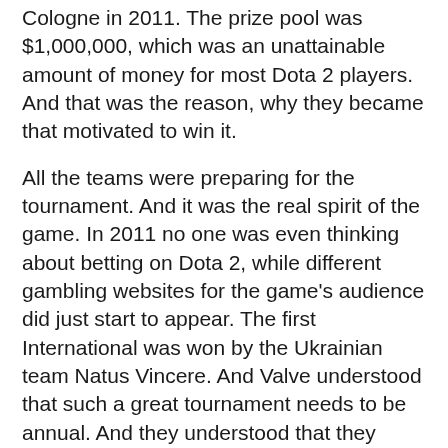Cologne in 2011. The prize pool was $1,000,000, which was an unattainable amount of money for most Dota 2 players. And that was the reason, why they became that motivated to win it.
All the teams were preparing for the tournament. And it was the real spirit of the game. In 2011 no one was even thinking about betting on Dota 2, while different gambling websites for the game's audience did just start to appear. The first International was won by the Ukrainian team Natus Vincere. And Valve understood that such a great tournament needs to be annual. And they understood that they need to increase the prize pool.
The first Compendium appeared in 2013. It was the Battle Pass, which was only 10 dollars worth. Buying The Compendium and different add-ons to it, you did increase the prize pool of the upcoming International. About 25% of the whole income went directly to the